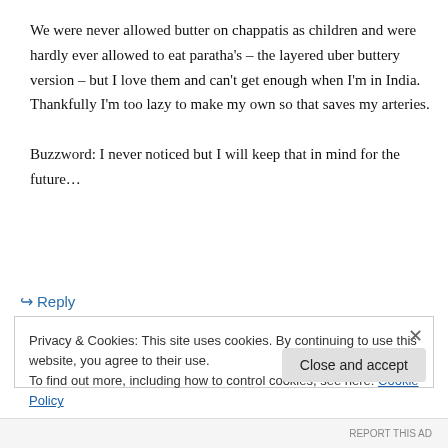We were never allowed butter on chappatis as children and were hardly ever allowed to eat paratha’s – the layered uber buttery version – but I love them and can’t get enough when I’m in India. Thankfully I’m too lazy to make my own so that saves my arteries.

Buzzword: I never noticed but I will keep that in mind for the future...
↳ Reply
Privacy & Cookies: This site uses cookies. By continuing to use this website, you agree to their use.
To find out more, including how to control cookies, see here: Cookie Policy
Close and accept